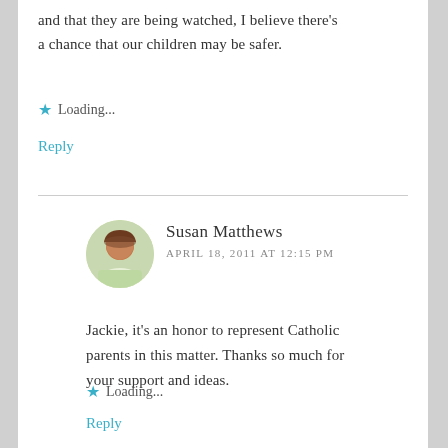and that they are being watched, I believe there's a chance that our children may be safer.
★ Loading...
Reply
Susan Matthews
APRIL 18, 2011 AT 12:15 PM
Jackie, it's an honor to represent Catholic parents in this matter. Thanks so much for your support and ideas.
★ Loading...
Reply